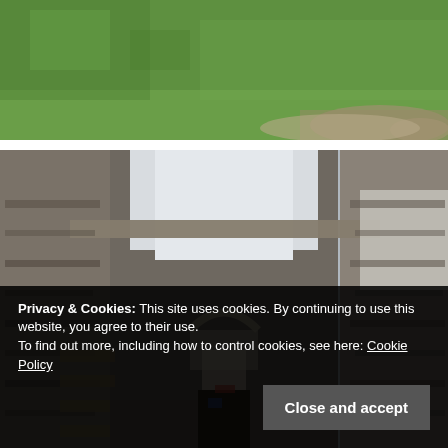[Figure (photo): Aerial or elevated view of green grass field with some gravel/dirt patches, partially visible at top of page]
[Figure (photo): Interior of a ruined stone building or castle, looking upward through open roof at white sky, showing rough stone walls, an arched alcove, wooden beams, and stone steps]
Privacy & Cookies: This site uses cookies. By continuing to use this website, you agree to their use.
To find out more, including how to control cookies, see here: Cookie Policy
Close and accept